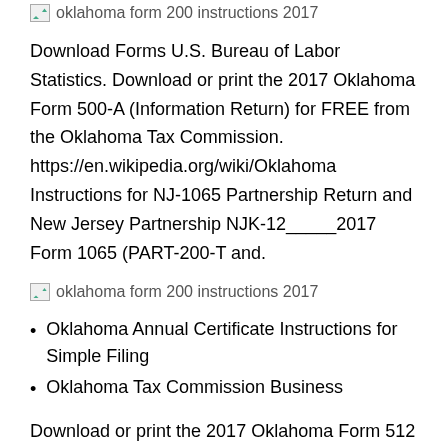[Figure (other): Broken image placeholder with alt text: oklahoma form 200 instructions 2017]
Download Forms U.S. Bureau of Labor Statistics. Download or print the 2017 Oklahoma Form 500-A (Information Return) for FREE from the Oklahoma Tax Commission. https://en.wikipedia.org/wiki/Oklahoma Instructions for NJ-1065 Partnership Return and New Jersey Partnership NJK-12_____2017 Form 1065 (PART-200-T and.
[Figure (other): Broken image placeholder with alt text: oklahoma form 200 instructions 2017]
Oklahoma Annual Certificate Instructions for Simple Filing
Oklahoma Tax Commission Business
Download or print the 2017 Oklahoma Form 512 (Corporate Income Tax Return (form and schedules)) for FREE from the Oklahoma Tax Commission. 2017 COMPOSITE RETURN